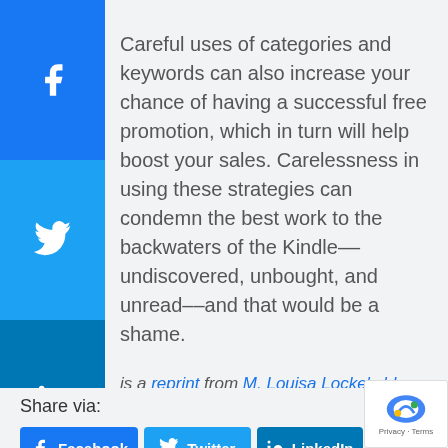Careful uses of categories and keywords can also increase your chance of having a successful free promotion, which in turn will help boost your sales. Carelessness in using these strategies can condemn the best work to the backwaters of the Kindle––undiscovered, unbought, and unread––and that would be a shame.
is a reprint from M. Louisa Locke's blog.
Share via: